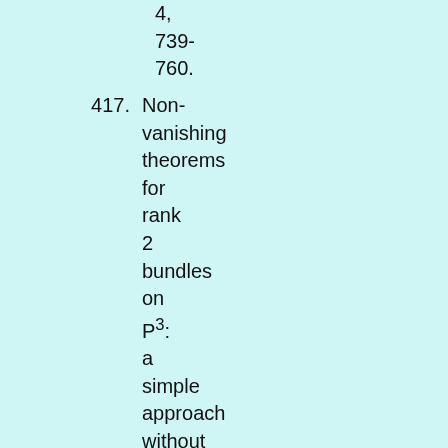4, 739-760.
417. Non-vanishing theorems for rank 2 bundles on P³: a simple approach without the speciality lemma, by Paolo Valabrega and Mario Valenzano;